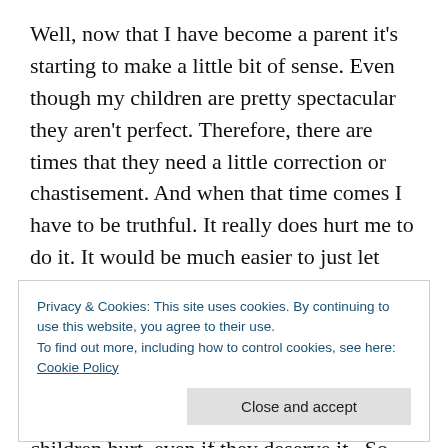Well, now that I have become a parent it's starting to make a little bit of sense. Even though my children are pretty spectacular they aren't perfect. Therefore, there are times that they need a little correction or chastisement. And when that time comes I have to be truthful. It really does hurt me to do it. It would be much easier to just let things slide by without correction than it would be to reprimand them. There has been times that after I brought correction and chastisement that I was hurting all evening. It breaks a father's heart to see his children hurt, even if they deserve it.  So now after all those confusing times of
Privacy & Cookies: This site uses cookies. By continuing to use this website, you agree to their use.
To find out more, including how to control cookies, see here: Cookie Policy
The scriptures reveal in Heb. 12:5 – 11 that if we are not